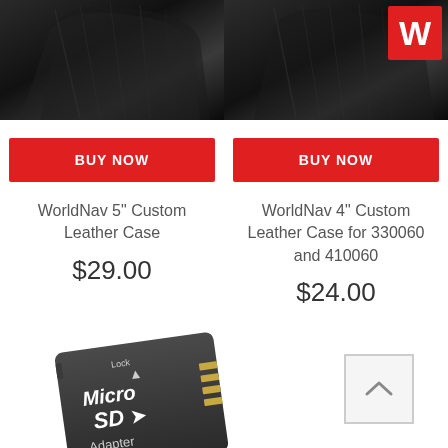[Figure (photo): Partial view of black leather case for WorldNav 5 inch (left) and WorldNav 4 inch with W logo (right), cropped at top]
[Figure (illustration): Red BUY NOW button for WorldNav 5 inch Custom Leather Case]
WorldNav 5" Custom Leather Case
$29.00
[Figure (illustration): Red BUY NOW button for WorldNav 4 inch Custom Leather Case]
WorldNav 4" Custom Leather Case for 330060 and 410060
$24.00
[Figure (photo): Partial view of a MicroSD Adapter card, black with white text reading Lock, Micro SD, Adapter]
[Figure (illustration): Scroll to top arrow button (chevron up icon in a bordered box)]